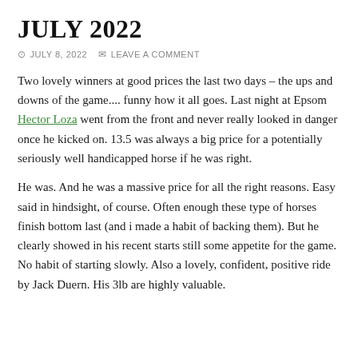JULY 2022
⊙ JULY 8, 2022   ✉ LEAVE A COMMENT
Two lovely winners at good prices the last two days – the ups and downs of the game.... funny how it all goes. Last night at Epsom Hector Loza went from the front and never really looked in danger once he kicked on. 13.5 was always a big price for a potentially seriously well handicapped horse if he was right.
He was. And he was a massive price for all the right reasons. Easy said in hindsight, of course. Often enough these type of horses finish bottom last (and i made a habit of backing them). But he clearly showed in his recent starts still some appetite for the game. No habit of starting slowly. Also a lovely, confident, positive ride by Jack Duern. His 3lb are highly valuable.